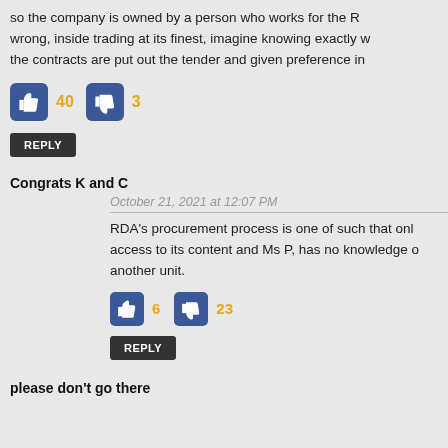so the company is owned by a person who works for the R... wrong, inside trading at its finest, imagine knowing exactly w... the contracts are put out the tender and given preference in...
[Figure (infographic): Thumbs up icon with count 40 and thumbs down icon with count 3]
REPLY
Congrats K and C
October 21, 2021 at 12:07 PM
RDA's procurement process is one of such that only... access to its content and Ms P, has no knowledge o... another unit.
[Figure (infographic): Thumbs up icon with count 6 and thumbs down icon with count 23]
REPLY
please don't go there